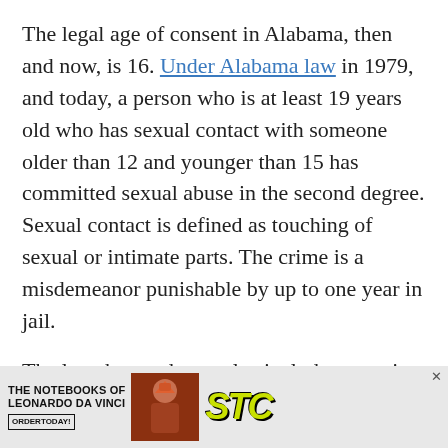The legal age of consent in Alabama, then and now, is 16. Under Alabama law in 1979, and today, a person who is at least 19 years old who has sexual contact with someone older than 12 and younger than 15 has committed sexual abuse in the second degree. Sexual contact is defined as touching of sexual or intimate parts. The crime is a misdemeanor punishable by up to one year in jail.
The law then and now also includes a section on enticing a child younger than 16 to enter a home with the purpose of proposing sexual intercourse or fondling of sexual and genital parts. That is a felony punishable by up to 10 years in prison.
[Figure (other): Advertisement banner for 'The Notebooks of Leonardo Da Vinci' by STC, with an order today button, an image of a person in costume, and the STC logo in yellow-green.]